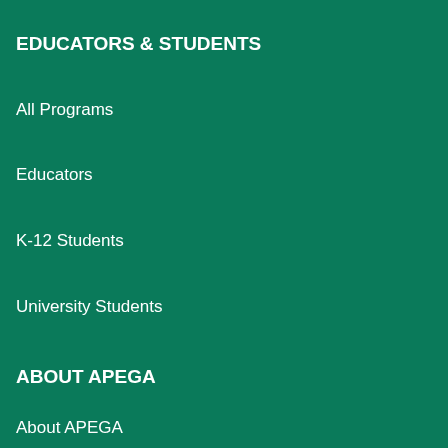EDUCATORS & STUDENTS
All Programs
Educators
K-12 Students
University Students
ABOUT APEGA
About APEGA
APEGA Store
Boards & Committees
Careers at APEGA
Council
Executive Team
Media Room
Past Presidents